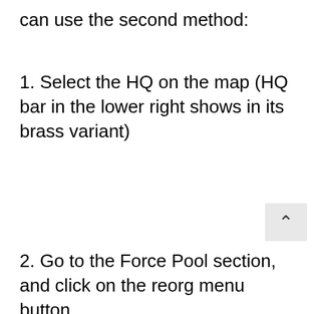can use the second method:
1. Select the HQ on the map (HQ bar in the lower right shows in its brass variant)
2. Go to the Force Pool section, and click on the reorg menu button
3. The reorg menu now specialist types and in all nationalities that are
[Figure (screenshot): Video ad overlay showing MW logo and 'BEST ZOMBIE GAMES' caption with a close button]